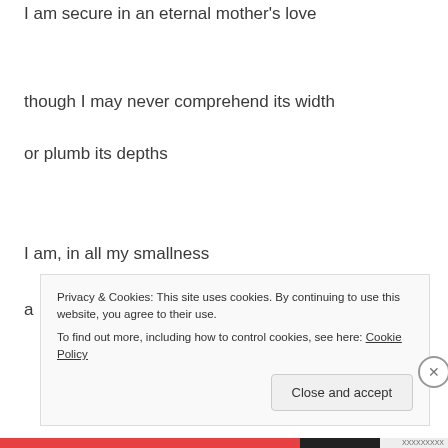I am secure in an eternal mother's love
though I may never comprehend its width
or plumb its depths
I am, in all my smallness
a
Privacy & Cookies: This site uses cookies. By continuing to use this website, you agree to their use.
To find out more, including how to control cookies, see here: Cookie Policy
Close and accept